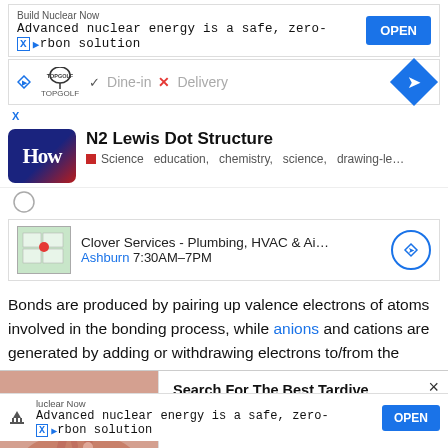[Figure (screenshot): Ad banner: Build Nuclear Now – Advanced nuclear energy is a safe, zero-carbon solution with OPEN button]
[Figure (screenshot): Ad banner: TopGolf logo, Dine-in checkmark, X Delivery, navigation diamond icon]
N2 Lewis Dot Structure – Science education, chemistry, science, drawing-le…
[Figure (screenshot): Local result card: Clover Services - Plumbing, HVAC & Ai… Ashburn 7:30AM–7PM]
Bonds are produced by pairing up valence electrons of atoms involved in the bonding process, while anions and cations are generated by adding or withdrawing electrons to/from the corresponding atoms.
[Figure (screenshot): Overlay ad: photo of hands, Search For The Best Tardive Dyskinesia Treatment – Yahoo! Search | Sponsored, with X close button]
octets o… and reso…
[Figure (screenshot): Bottom ad bar: Build Nuclear Now – Advanced nuclear energy is a safe, zero-carbon solution with OPEN button]